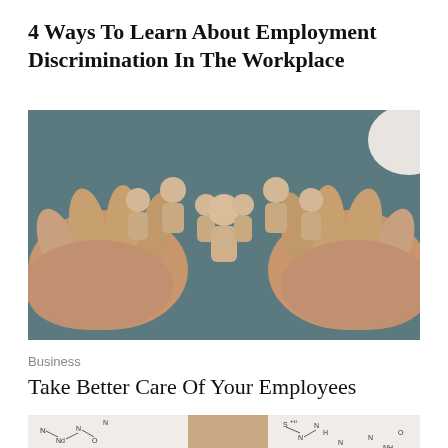4 Ways To Learn About Employment Discrimination In The Workplace
[Figure (photo): Two hands cupping a group of wooden human figurines arranged in a V shape on a dark teal background, symbolizing workplace team or employee management.]
Business
Take Better Care Of Your Employees
[Figure (photo): Partial view of a person's face with chemical structure diagrams drawn in the background, including Lysine and Sulfanilamide molecular structures.]